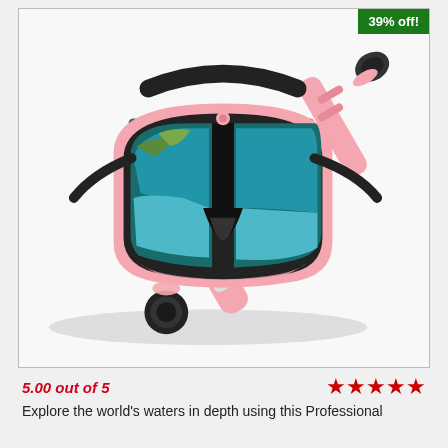[Figure (photo): Pink and black snorkeling mask and snorkel tube set on white background. The diving mask has mirrored lenses reflecting an ocean scene, pink silicone frame, and black straps. The snorkel tube is pink and black with a flexible corrugated section.]
39% off!
5.00 out of 5
Explore the world's waters in depth using this Professional